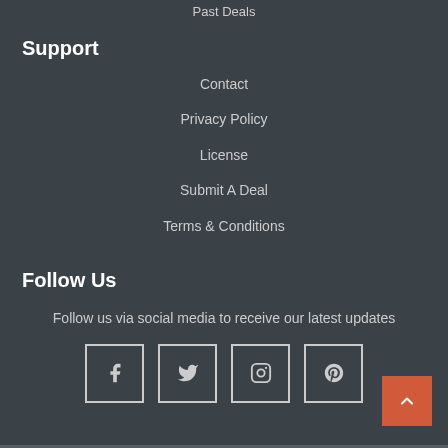Past Deals
Support
Contact
Privacy Policy
License
Submit A Deal
Terms & Conditions
Follow Us
Follow us via social media to receive our latest updates
[Figure (illustration): Four social media icon buttons in square outlines: Facebook (f), Twitter (bird), Instagram (camera), Pinterest (p)]